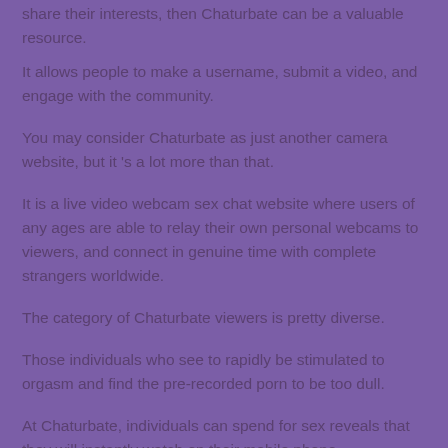share their interests, then Chaturbate can be a valuable resource.
It allows people to make a username, submit a video, and engage with the community.
You may consider Chaturbate as just another camera website, but it 's a lot more than that.
It is a live video webcam sex chat website where users of any ages are able to relay their own personal webcams to viewers, and connect in genuine time with complete strangers worldwide.
The category of Chaturbate viewers is pretty diverse.
Those individuals who see to rapidly be stimulated to orgasm and find the pre-recorded porn to be too dull.
At Chaturbate, individuals can spend for sex reveals that they will instantly watch on their mobile phone.